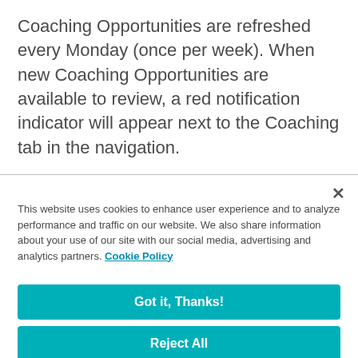Coaching Opportunities are refreshed every Monday (once per week). When new Coaching Opportunities are available to review, a red notification indicator will appear next to the Coaching tab in the navigation.
This website uses cookies to enhance user experience and to analyze performance and traffic on our website. We also share information about your use of our site with our social media, advertising and analytics partners. Cookie Policy
Got it, Thanks!
Reject All
Cookies Settings